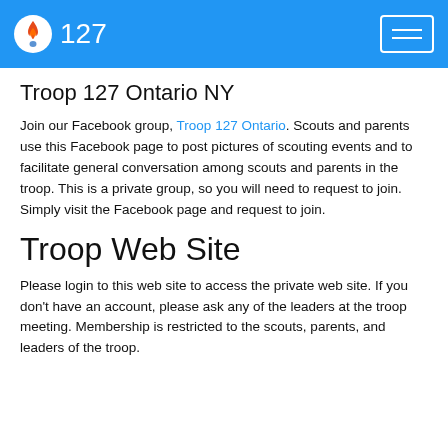127
Troop 127 Ontario NY
Join our Facebook group, Troop 127 Ontario. Scouts and parents use this Facebook page to post pictures of scouting events and to facilitate general conversation among scouts and parents in the troop. This is a private group, so you will need to request to join. Simply visit the Facebook page and request to join.
Troop Web Site
Please login to this web site to access the private web site. If you don't have an account, please ask any of the leaders at the troop meeting. Membership is restricted to the scouts, parents, and leaders of the troop.